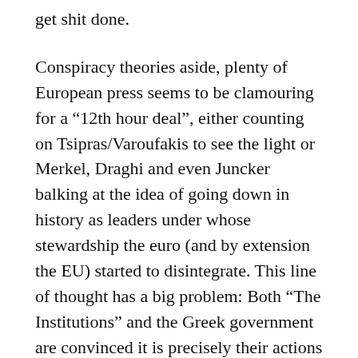get shit done.
Conspiracy theories aside, plenty of European press seems to be clamouring for a “12th hour deal”, either counting on Tsipras/Varoufakis to see the light or Merkel, Draghi and even Juncker balking at the idea of going down in history as leaders under whose stewardship the euro (and by extension the EU) started to disintegrate. This line of thought has a big problem: Both “The Institutions” and the Greek government are convinced it is precisely their actions which can save the euro/EU while actions of the opposite side are “uneuropean, inhumane and illogical”. Not necessarily in that particular order. It is, as KAL some time ago so aptly pointed out, a classic case of irresistible force meeting an immovable object. It seems doubly ironic that a renowned expert in game theory should be an active participant in the dismal failure of the entire